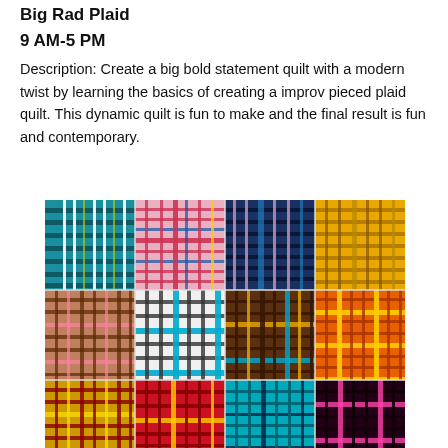Big Rad Plaid
9 AM-5 PM
Description: Create a big bold statement quilt with a modern twist by learning the basics of creating a improv pieced plaid quilt. This dynamic quilt is fun to make and the final result is fun and contemporary.
[Figure (photo): A colorful patchwork plaid quilt made up of multiple blocks in various color combinations including teal, pink, navy, yellow, brown, red, orange, and white, each with a plaid/grid pattern.]